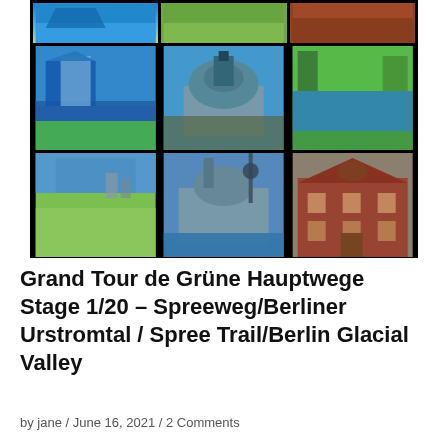[Figure (photo): 3x3 grid collage of Berlin photos: modern glass buildings by river, Berlin Cathedral, park with lake, green meadow with city skyline, Bode Museum by river, red brick historic building. Black background.]
Grand Tour de Grüne Hauptwege Stage 1/20 – Spreeweg/Berliner Urstromtal / Spree Trail/Berlin Glacial Valley
by jane / June 16, 2021 / 2 Comments